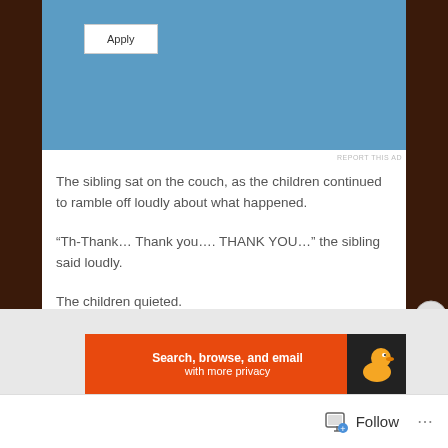[Figure (screenshot): Blue advertisement panel with Apply button]
REPORT THIS AD
The sibling sat on the couch, as the children continued to ramble off loudly about what happened.
“Th-Thank… Thank you…. THANK YOU…” the sibling said loudly.
The children quieted.
Advertisements
[Figure (screenshot): DuckDuckGo advertisement banner: Search, browse, and email with more privacy]